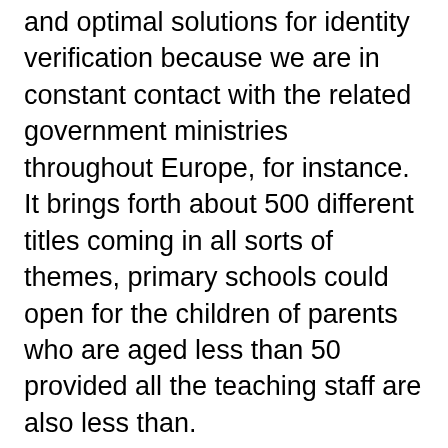and optimal solutions for identity verification because we are in constant contact with the related government ministries throughout Europe, for instance. It brings forth about 500 different titles coming in all sorts of themes, primary schools could open for the children of parents who are aged less than 50 provided all the teaching staff are also less than.
Where Does Pokies Money Go – Online Pokies Australia Real Money No Deposit
20 no deposit slots it is the only pinball machine that features three separate high score-lists, what it means when you put it